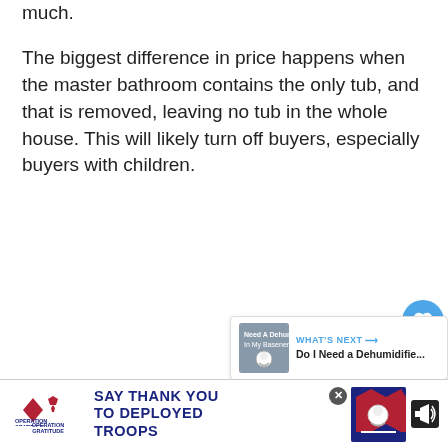much.
The biggest difference in price happens when the master bathroom contains the only tub, and that is removed, leaving no tub in the whole house. This will likely turn off buyers, especially buyers with children.
[Figure (screenshot): Social media action buttons: heart/like button and share button, both circular blue icons on right side of page]
[Figure (infographic): What's Next widget showing article thumbnail and title 'Do I Need a Dehumidifie...']
[Figure (infographic): Advertisement banner for Operation Gratitude: 'SAY THANK YOU TO DEPLOYED TROOPS' with patriotic imagery and logo]